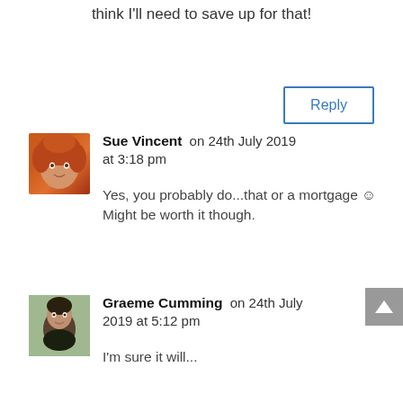think I'll need to save up for that!
Reply
Sue Vincent on 24th July 2019 at 3:18 pm
Yes, you probably do...that or a mortgage 🙂 Might be worth it though.
Graeme Cumming on 24th July 2019 at 5:12 pm
I'm sure it will...